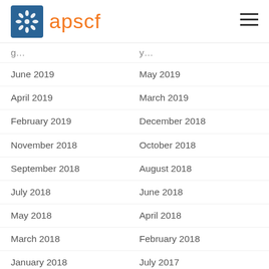apscf
June 2019
May 2019
April 2019
March 2019
February 2019
December 2018
November 2018
October 2018
September 2018
August 2018
July 2018
June 2018
May 2018
April 2018
March 2018
February 2018
January 2018
July 2017
January 2014
May 2012
January 2012
December 2011